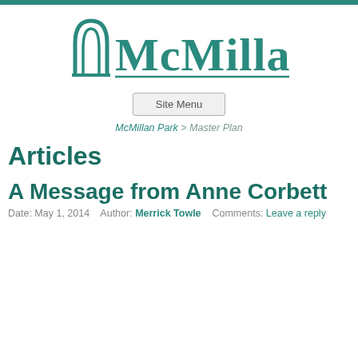[Figure (logo): McMillan Park logo with teal arch/building icon and large teal text 'McMillan']
Site Menu
McMillan Park > Master Plan
Articles
A Message from Anne Corbett
Date: May 1, 2014   Author: Merrick Towle   Comments: Leave a reply